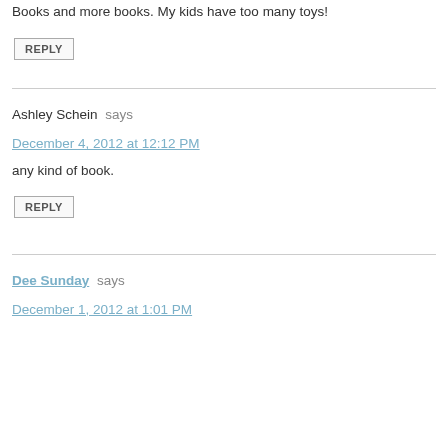Books and more books. My kids have too many toys!
REPLY
Ashley Schein says
December 4, 2012 at 12:12 PM
any kind of book.
REPLY
Dee Sunday says
December 1, 2012 at 1:01 PM